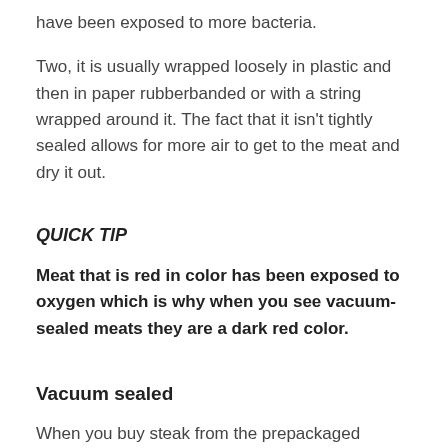have been exposed to more bacteria.
Two, it is usually wrapped loosely in plastic and then in paper rubberbanded or with a string wrapped around it. The fact that it isn't tightly sealed allows for more air to get to the meat and dry it out.
QUICK TIP
Meat that is red in color has been exposed to oxygen which is why when you see vacuum-sealed meats they are a dark red color.
Vacuum sealed
When you buy steak from the prepackaged section of the grocery store they will have vacuum-sealed steaks. The oxygen has been sucked out allowing it